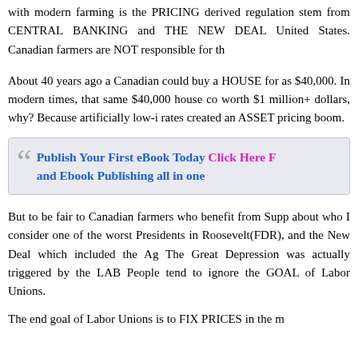with modern farming is the PRICING derived regulation stem from CENTRAL BANKING and THE NEW DEAL United States. Canadian farmers are NOT responsible for th
About 40 years ago a Canadian could buy a HOUSE for as $40,000. In modern times, that same $40,000 house co worth $1 million+ dollars, why? Because artificially low-i rates created an ASSET pricing boom.
Publish Your First eBook Today Click Here F and Ebook Publishing all in one
But to be fair to Canadian farmers who benefit from Supp about who I consider one of the worst Presidents in Roosevelt(FDR), and the New Deal which included the Ag The Great Depression was actually triggered by the LAB People tend to ignore the GOAL of Labor Unions.
The end goal of Labor Unions is to FIX PRICES in the m